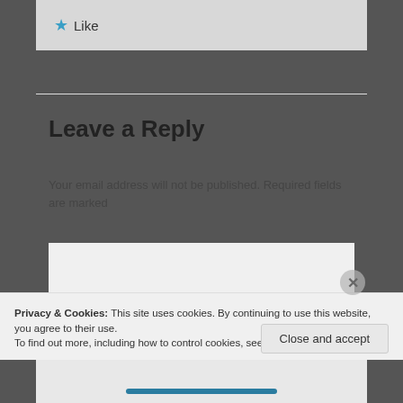[Figure (screenshot): Like button bar with blue star icon and 'Like' text on gray background]
Leave a Reply
Your email address will not be published. Required fields are marked
[Figure (screenshot): Empty text area input box with light gray background]
Privacy & Cookies: This site uses cookies. By continuing to use this website, you agree to their use.
To find out more, including how to control cookies, see here: Cookie Policy
Close and accept